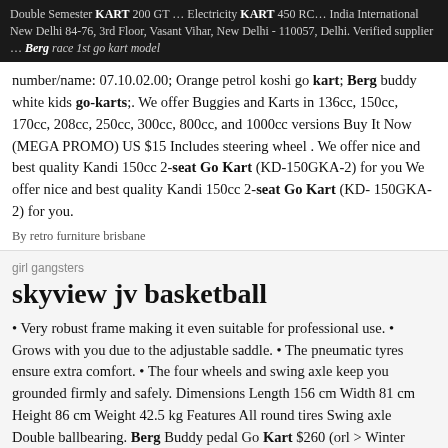Double Semester KART 200 GT … Electricity KART 450 RC… India International New Delhi 84-76, 3rd Floor, Vasant Vihar, New Delhi - 110057, Delhi. Verified supplier … Berg race 1st go kart model number/name: 07.10.02.00; Orange petrol koshi go kart; Berg buddy white kids go-karts;. We offer Buggies and Karts in 136cc, 150cc, 170cc, 208cc, 250cc, 300cc, 800cc, and 1000cc versions Buy It Now (MEGA PROMO) US $15 Includes steering wheel . We offer nice and best quality Kandi 150cc 2-seat Go Kart (KD-150GKA-2) for you We offer nice and best quality Kandi 150cc 2-seat Go Kart (KD-150GKA-2) for you.
By retro furniture brisbane
girl gangsters
skyview jv basketball
• Very robust frame making it even suitable for professional use. • Grows with you due to the adjustable saddle. • The pneumatic tyres ensure extra comfort. • The four wheels and swing axle keep you grounded firmly and safely. Dimensions Length 156 cm Width 81 cm Height 86 cm Weight 42.5 kg Features All round tires Swing axle Double ballbearing. Berg Buddy pedal Go Kart $260 (orl > Winter Park) hide this posting restore restore this posting. $1,900. … (orl >